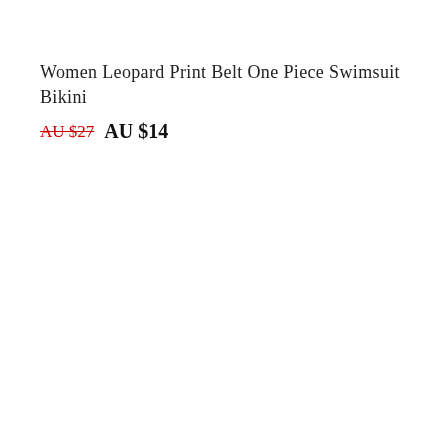Women Leopard Print Belt One Piece Swimsuit Bikini
AU $27  AU $14